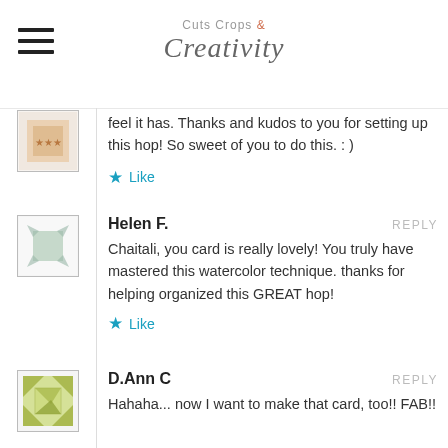Cuts Crops & Creativity
feel it has. Thanks and kudos to you for setting up this hop! So sweet of you to do this. : )
Like
Helen F. REPLY
Chaitali, you card is really lovely! You truly have mastered this watercolor technique. thanks for helping organized this GREAT hop!
Like
D.Ann C REPLY
Hahaha... now I want to make that card, too!! FAB!!